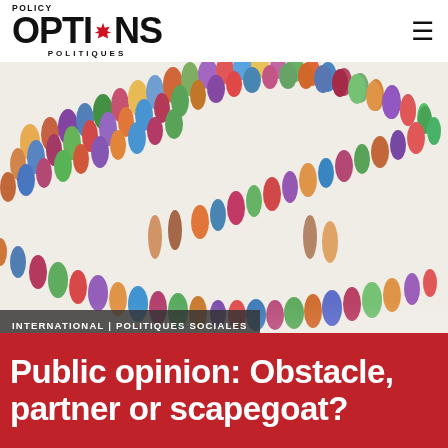POLICY OPTIONS POLITIQUES
[Figure (photo): Aerial view of large crowds of people forming diagonal lines/queues on a white surface, colorful clothing, viewed from above]
INTERNATIONAL | POLITIQUES SOCIALES
Public opinion: Obstacle, partner or scapegoat?